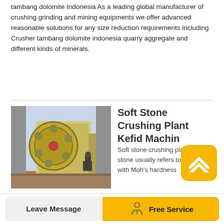tambang dolomite Indonesia As a leading global manufacturer of crushing grinding and mining equipments we offer advanced reasonable solutions for any size reduction requirements including Crusher tambang dolomite indonesia quarry aggregate and different kinds of minerals.
[Figure (photo): Industrial stone crushing machine (jaw crusher) with a person standing next to it for scale, outdoors]
Soft Stone Crushing Plant Kefid Machin
Soft stone crushing plant Soft stone usually refers to the stones with Moh's hardness below 5 Such as limestone marble dolomite talcum lignite malachite bentonite graphite gypsum barite etc The most common soft stone is limestone so here take it for example
Leave Message   Free Service